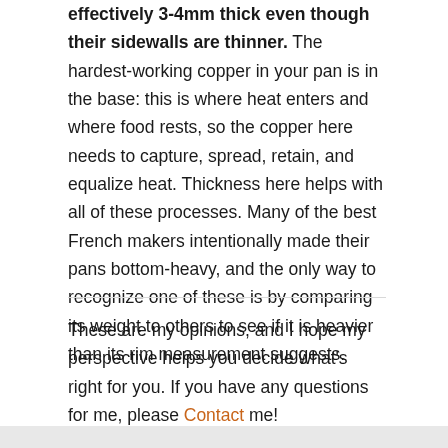effectively 3-4mm thick even though their sidewalls are thinner. The hardest-working copper in your pan is in the base: this is where heat enters and where food rests, so the copper here needs to capture, spread, retain, and equalize heat. Thickness here helps with all of these processes. Many of the best French makers intentionally made their pans bottom-heavy, and the only way to recognize one of these is by comparing its weight to others to see if it is heavier than its rim measurement suggests.
These are my opinions, and I hope my perspective helps you decide what's right for you. If you have any questions for me, please Contact me!